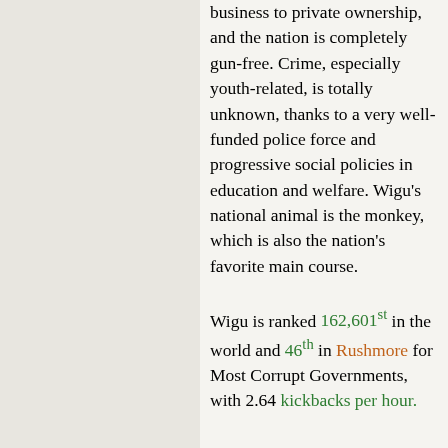business to private ownership, and the nation is completely gun-free. Crime, especially youth-related, is totally unknown, thanks to a very well-funded police force and progressive social policies in education and welfare. Wigu's national animal is the monkey, which is also the nation's favorite main course.

Wigu is ranked 162,601st in the world and 46th in Rushmore for Most Corrupt Governments, with 2.64 kickbacks per hour.